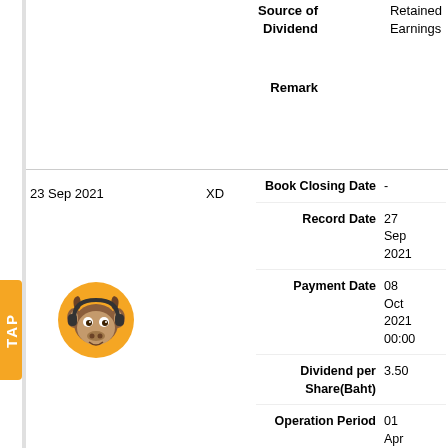| Source of Dividend | Retained Earnings |
| --- | --- |
| Remark |  |
| 23 Sep 2021 | XD | Book Closing Date | - |
| Record Date | 27 Sep 2021 |
| Payment Date | 08 Oct 2021 00:00 |
| Dividend per Share(Baht) | 3.50 |
| Operation Period | 01 Apr 2021 - 30 Jun 2021 |
[Figure (logo): TAP application logo - orange circle with cartoon bull mascot wearing headphones]